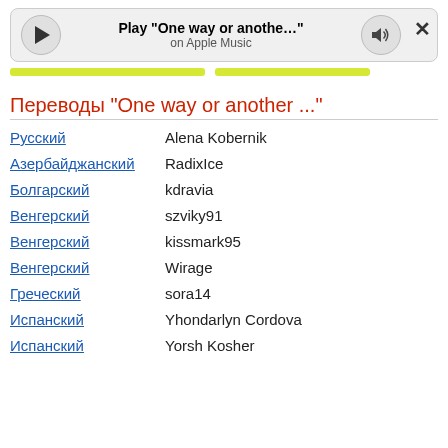[Figure (screenshot): Music player bar showing Play 'One way or anothe...' on Apple Music with play button, volume button, and close button]
[Figure (other): Two yellow/lime green progress bar indicators]
Переводы "One way or another ..."
Русский — Alena Kobernik
Азербайджанский — RadixIce
Болгарский — kdravia
Венгерский — szviky91
Венгерский — kissmark95
Венгерский — Wirage
Греческий — sora14
Испанский — Yhondarlyn Cordova
Испанский — Yorsh Kosher